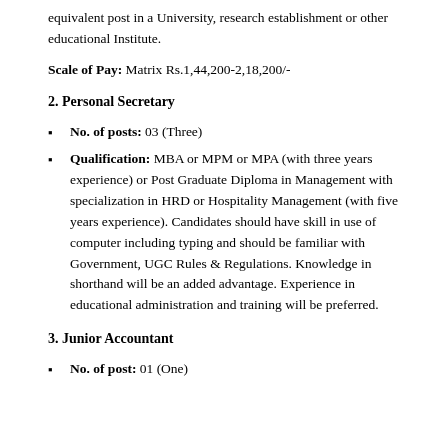equivalent post in a University, research establishment or other educational Institute.
Scale of Pay: Matrix Rs.1,44,200-2,18,200/-
2. Personal Secretary
No. of posts: 03 (Three)
Qualification: MBA or MPM or MPA (with three years experience) or Post Graduate Diploma in Management with specialization in HRD or Hospitality Management (with five years experience). Candidates should have skill in use of computer including typing and should be familiar with Government, UGC Rules & Regulations. Knowledge in shorthand will be an added advantage. Experience in educational administration and training will be preferred.
3. Junior Accountant
No. of post: 01 (One)